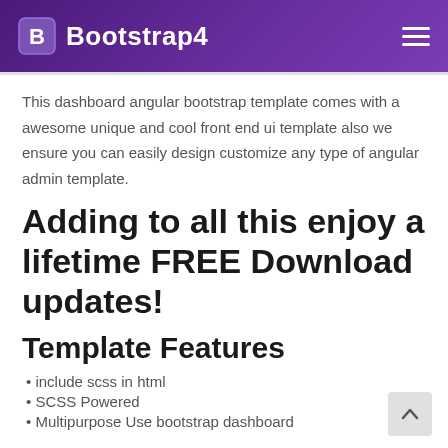Bootstrap4
This dashboard angular bootstrap template comes with a awesome unique and cool front end ui template also we ensure you can easily design customize any type of angular admin template.
Adding to all this enjoy a lifetime FREE Download updates!
Template Features
include scss in html
SCSS Powered
Multipurpose Use bootstrap dashboard